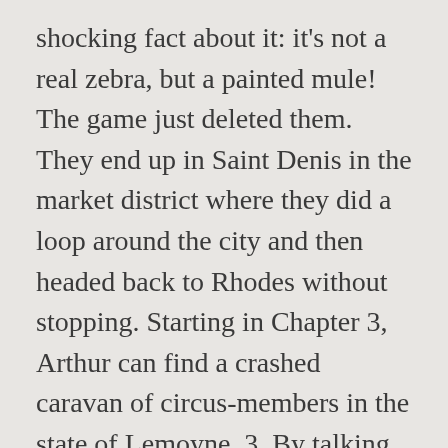shocking fact about it: it's not a real zebra, but a painted mule! The game just deleted them. They end up in Saint Denis in the market district where they did a loop around the city and then headed back to Rhodes without stopping. Starting in Chapter 3, Arthur can find a crashed caravan of circus-members in the state of Lemoyne. 3. By talking with him, Arthur will learn of Margaret's act and how it can no longer be performed, as his zebra, tiger, and lion have escaped from their wagons. Red Dead Redemption 2 Animals Species & Wildlife Database The Lion in Red Dead Redemption 2 is an animal that is met exclusively as part of the Stranger Mission " He's British, Of Course – IV ". During this mission you are tasked with